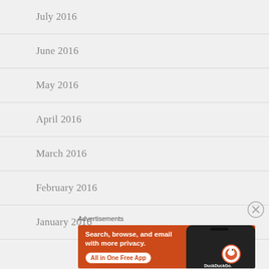July 2016
June 2016
May 2016
April 2016
March 2016
February 2016
January 2016
Advertisements
[Figure (illustration): DuckDuckGo advertisement banner: orange background with text 'Search, browse, and email with more privacy. All in One Free App' alongside a phone showing the DuckDuckGo logo]